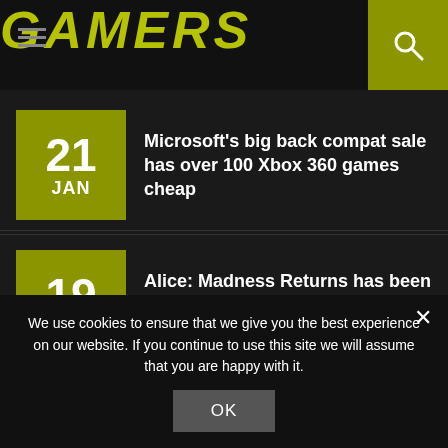GAMERS
Microsoft's big back compat sale has over 100 Xbox 360 games cheap
Alice: Madness Returns has been quietly removed from Steam again
Samsung Partners with iFixit to Offer DIY Smartphone Repair Kits
We use cookies to ensure that we give you the best experience on our website. If you continue to use this site we will assume that you are happy with it.